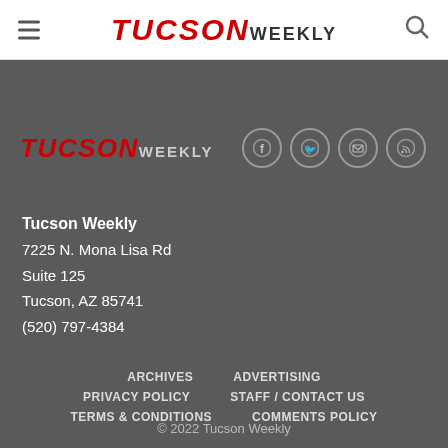TUCSON WEEKLY (navigation header with hamburger menu and search icon)
[Figure (logo): Tucson Weekly logo in footer area with social media icons (Facebook, Twitter, Email, RSS)]
Tucson Weekly
7225 N. Mona Lisa Rd
Suite 125
Tucson, AZ 85741
(520) 797-4384
ARCHIVES
ADVERTISING
PRIVACY POLICY
STAFF / CONTACT US
TERMS & CONDITIONS
COMMENTS POLICY
© 2022 Tucson Weekly